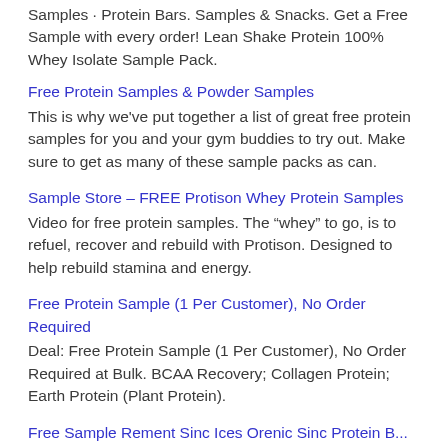Samples · Protein Bars. Samples & Snacks. Get a Free Sample with every order! Lean Shake Protein 100% Whey Isolate Sample Pack.
Free Protein Samples & Powder Samples
This is why we've put together a list of great free protein samples for you and your gym buddies to try out. Make sure to get as many of these sample packs as can.
Sample Store – FREE Protison Whey Protein Samples
Video for free protein samples. The “whey” to go, is to refuel, recover and rebuild with Protison. Designed to help rebuild stamina and energy.
Free Protein Sample (1 Per Customer), No Order Required
Deal: Free Protein Sample (1 Per Customer), No Order Required at Bulk. BCAA Recovery; Collagen Protein; Earth Protein (Plant Protein).
Free SampleRement Sinc Ices Orenic Sinc Protein Bar